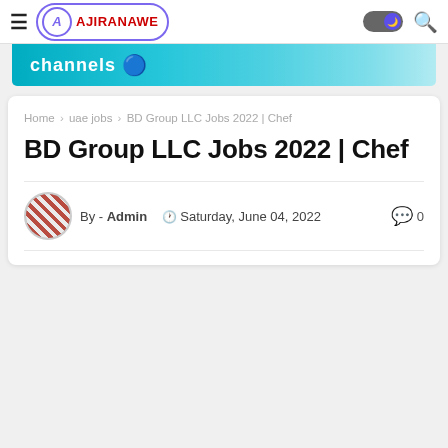AJIRANAWE
[Figure (screenshot): Banner image showing 'channels' text on teal/cyan background]
Home › uae jobs › BD Group LLC Jobs 2022 | Chef
BD Group LLC Jobs 2022 | Chef
By - Admin  Saturday, June 04, 2022  0